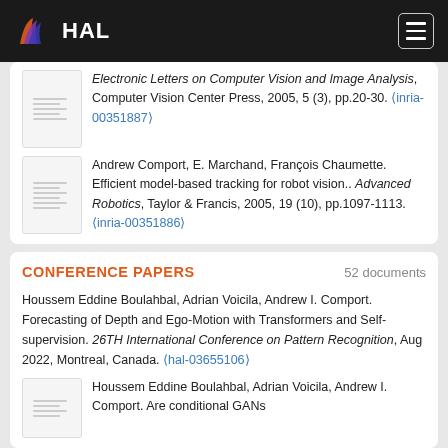HAL
Electronic Letters on Computer Vision and Image Analysis, Computer Vision Center Press, 2005, 5 (3), pp.20-30. (inria-00351887)
Andrew Comport, E. Marchand, François Chaumette. Efficient model-based tracking for robot vision.. Advanced Robotics, Taylor & Francis, 2005, 19 (10), pp.1097-1113. (inria-00351886)
CONFERENCE PAPERS
52 documents
Houssem Eddine Boulahbal, Adrian Voicila, Andrew I. Comport. Forecasting of Depth and Ego-Motion with Transformers and Self-supervision. 26TH International Conference on Pattern Recognition, Aug 2022, Montreal, Canada. (hal-03655106)
Houssem Eddine Boulahbal, Adrian Voicila, Andrew I. Comport. Are conditional GANs